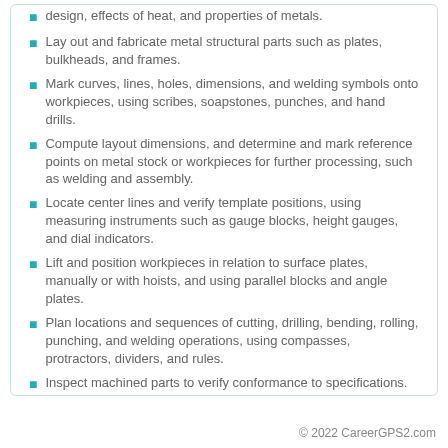design, effects of heat, and properties of metals.
Lay out and fabricate metal structural parts such as plates, bulkheads, and frames.
Mark curves, lines, holes, dimensions, and welding symbols onto workpieces, using scribes, soapstones, punches, and hand drills.
Compute layout dimensions, and determine and mark reference points on metal stock or workpieces for further processing, such as welding and assembly.
Locate center lines and verify template positions, using measuring instruments such as gauge blocks, height gauges, and dial indicators.
Lift and position workpieces in relation to surface plates, manually or with hoists, and using parallel blocks and angle plates.
Plan locations and sequences of cutting, drilling, bending, rolling, punching, and welding operations, using compasses, protractors, dividers, and rules.
Inspect machined parts to verify conformance to specifications.
Design and prepare templates of wood, paper, or metal.
© 2022 CareerGPS2.com